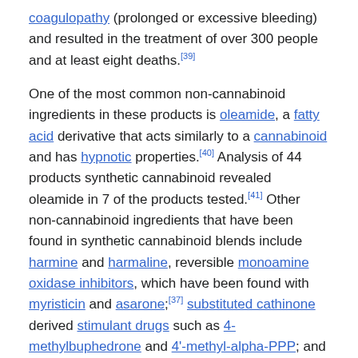coagulopathy (prolonged or excessive bleeding) and resulted in the treatment of over 300 people and at least eight deaths.[39]
One of the most common non-cannabinoid ingredients in these products is oleamide, a fatty acid derivative that acts similarly to a cannabinoid and has hypnotic properties.[40] Analysis of 44 products synthetic cannabinoid revealed oleamide in 7 of the products tested.[41] Other non-cannabinoid ingredients that have been found in synthetic cannabinoid blends include harmine and harmaline, reversible monoamine oxidase inhibitors, which have been found with myristicin and asarone;[37] substituted cathinone derived stimulant drugs such as 4-methylbuphedrone and 4'-methyl-alpha-PPP; and psychedelic tryptamine derivatives such as 4-OH-DET.[42][43]